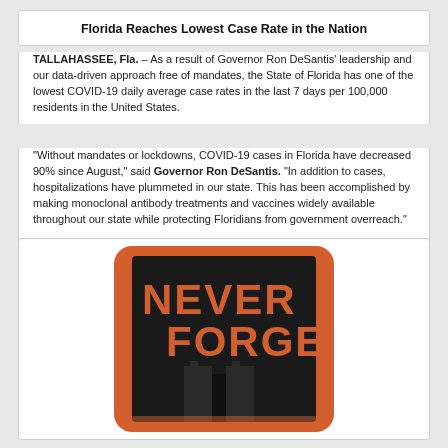Florida Reaches Lowest Case Rate in the Nation
TALLAHASSEE, Fla. – As a result of Governor Ron DeSantis' leadership and our data-driven approach free of mandates, the State of Florida has one of the lowest COVID-19 daily average case rates in the last 7 days per 100,000 residents in the United States.
"Without mandates or lockdowns, COVID-19 cases in Florida have decreased 90% since August," said Governor Ron DeSantis. "In addition to cases, hospitalizations have plummeted in our state. This has been accomplished by making monoclonal antibody treatments and vaccines widely available throughout our state while protecting Floridians from government overreach."
[Figure (illustration): A 'Never Forget' 9/11 memorial graphic showing the Twin Towers silhouette in black on an orange/red rounded rectangle background, with the text NEVER FORGET in orange bold letters.]